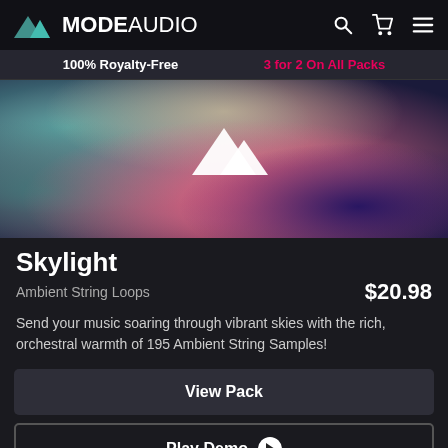MODE AUDIO
100% Royalty-Free   3 for 2 On All Packs
[Figure (illustration): Ambient colorful cloudy sky background with the ModeAudio logo (mountain/triangle icon) centered in white]
Skylight
Ambient String Loops   $20.98
Send your music soaring through vibrant skies with the rich, orchestral warmth of 195 Ambient String Samples!
View Pack
Play Demo